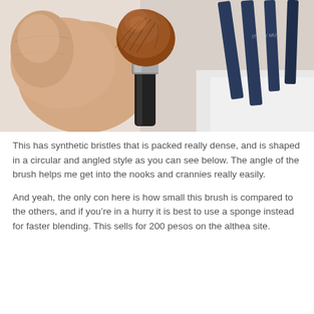[Figure (photo): A hand holding a small round makeup brush with dense reddish-brown synthetic bristles and a black handle. In the background are dark blue cosmetic pencils/brushes and a white surface.]
This has synthetic bristles that is packed really dense, and is shaped in a circular and angled style as you can see below. The angle of the brush helps me get into the nooks and crannies really easily.
And yeah, the only con here is how small this brush is compared to the others, and if you're in a hurry it is best to use a sponge instead for faster blending. This sells for 200 pesos on the althea site.